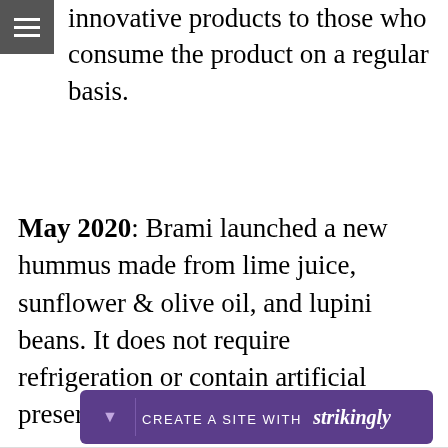[Figure (other): Hamburger menu icon — three white horizontal lines on a dark gray square background]
innovative products to those who consume the product on a regular basis.
May 2020: Brami launched a new hummus made from lime juice, sunflower & olive oil, and lupini beans. It does not require refrigeration or contain artificial preservatives.
CREATE A SITE WITH strikingly